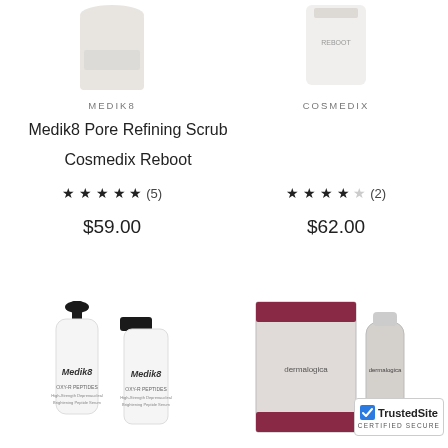[Figure (photo): Medik8 Pore Refining Scrub product image (partially visible at top)]
MEDIK8
Medik8 Pore Refining Scrub
★ ★ ★ ★ ★ (5)
$59.00
[Figure (photo): Cosmedix Reboot product image (partially visible at top)]
COSMEDIX
Cosmedix Reboot
★ ★ ★ ★ ☆ (2)
$62.00
[Figure (photo): Two Medik8 OXY-R Peptides serum bottles]
[Figure (photo): Dermalogica product box and bottle]
[Figure (logo): TrustedSite certified secure badge]